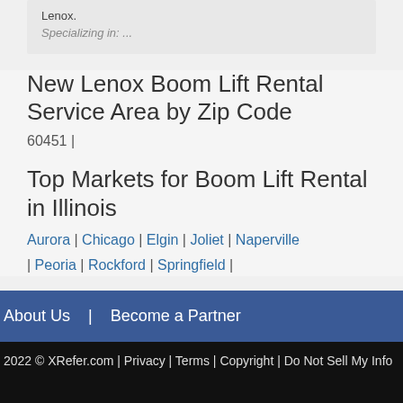Lenox.
Specializing in: ...
New Lenox Boom Lift Rental Service Area by Zip Code
60451 |
Top Markets for Boom Lift Rental in Illinois
Aurora | Chicago | Elgin | Joliet | Naperville | Peoria | Rockford | Springfield |
About Us  |  Become a Partner
2022 © XRefer.com | Privacy | Terms | Copyright | Do Not Sell My Info